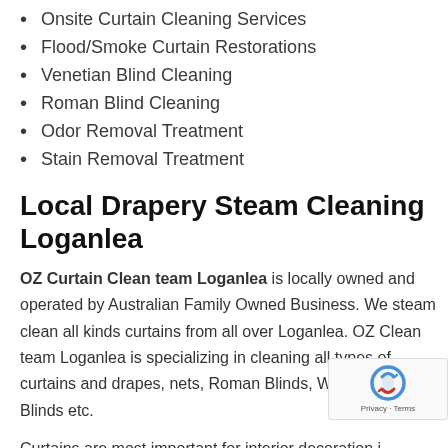Onsite Curtain Cleaning Services
Flood/Smoke Curtain Restorations
Venetian Blind Cleaning
Roman Blind Cleaning
Odor Removal Treatment
Stain Removal Treatment
Local Drapery Steam Cleaning Loganlea
OZ Curtain Clean team Loganlea is locally owned and operated by Australian Family Owned Business. We steam clean all kinds curtains from all over Loganlea. OZ Clean team Loganlea is specializing in cleaning all types of curtains and drapes, nets, Roman Blinds, Wooden Venetian Blinds etc.
Curtains are most important for interior decoration in homes and offices. On the same time cleaning Curtains and